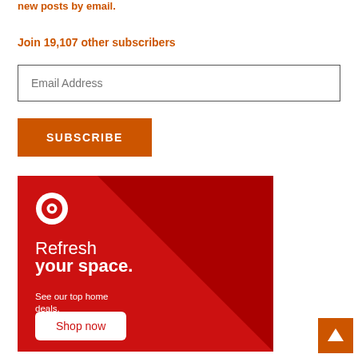new posts by email.
Join 19,107 other subscribers
Email Address
SUBSCRIBE
[Figure (illustration): Target advertisement banner with red background, Target bullseye logo, text 'Refresh your space. See our top home deals.' and a 'Shop now' white button.]